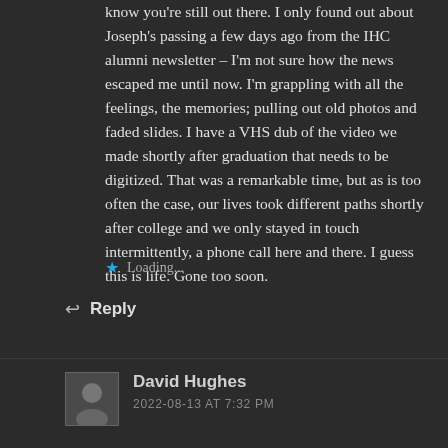know you're still out there. I only found out about Joseph's passing a few days ago from the IHC alumni newsletter – I'm not sure how the news escaped me until now. I'm grappling with all the feelings, the memories; pulling out old photos and faded slides. I have a VHS dub of the video we made shortly after graduation that needs to be digitized. That was a remarkable time, but as is too often the case, our lives took different paths shortly after college and we only stayed in touch intermittently, a phone call here and there. I guess this is life. Gone too soon.
★ Loading...
↩ Reply
David Hughes
2022-08-13 AT 7:32 PM